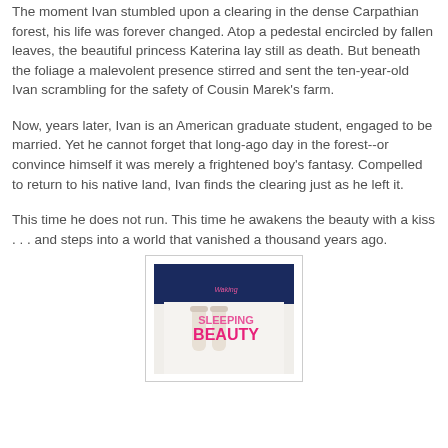The moment Ivan stumbled upon a clearing in the dense Carpathian forest, his life was forever changed. Atop a pedestal encircled by fallen leaves, the beautiful princess Katerina lay still as death. But beneath the foliage a malevolent presence stirred and sent the ten-year-old Ivan scrambling for the safety of Cousin Marek's farm.
Now, years later, Ivan is an American graduate student, engaged to be married. Yet he cannot forget that long-ago day in the forest--or convince himself it was merely a frightened boy's fantasy. Compelled to return to his native land, Ivan finds the clearing just as he left it.
This time he does not run. This time he awakens the beauty with a kiss . . . and steps into a world that vanished a thousand years ago.
[Figure (illustration): Book cover for 'Waking Sleeping Beauty' showing legs in white stockings against white fabric with dark blue background, pink and magenta text reading 'Waking SLEEPING BEAUTY']